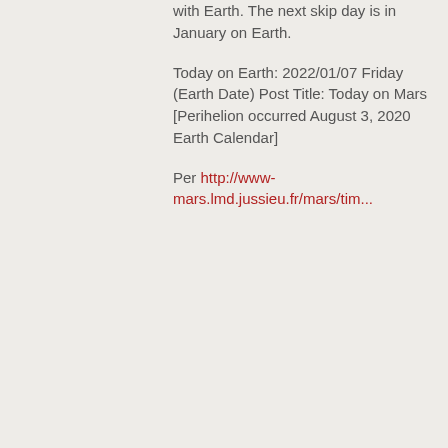with Earth. The next skip day is in January on Earth.
Today on Earth: 2022/01/07 Friday (Earth Date) Post Title: Today on Mars [Perihelion occurred August 3, 2020 Earth Calendar]
Per http://www-mars.lmd.jussieu.fr/mars/tim...